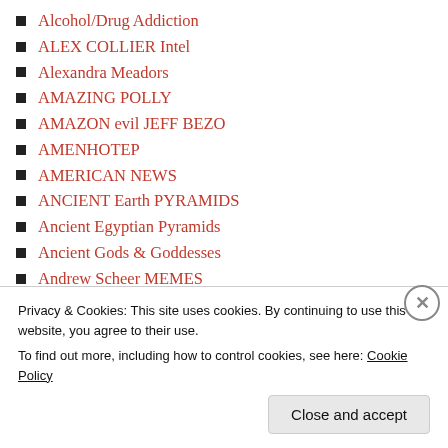Alcohol/Drug Addiction
ALEX COLLIER Intel
Alexandra Meadors
AMAZING POLLY
AMAZON evil JEFF BEZO
AMENHOTEP
AMERICAN NEWS
ANCIENT Earth PYRAMIDS
Ancient Egyptian Pyramids
Ancient Gods & Goddesses
Andrew Scheer MEMES
ANDROMEDA
ANGEL NUMBERS INFO
ANGELA MERKEL [EU UN]
ANGELIC HUMAN BODY
ANGELIC HUMAN RACE
ANGELS BY NAMES
ANIMAL HEALING Info
Privacy & Cookies: This site uses cookies. By continuing to use this website, you agree to their use. To find out more, including how to control cookies, see here: Cookie Policy
Close and accept